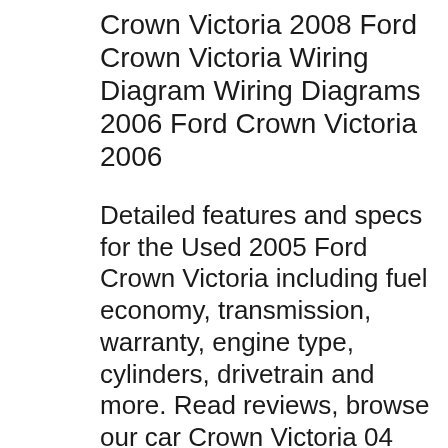Crown Victoria 2008 Ford Crown Victoria Wiring Diagram Wiring Diagrams 2006 Ford Crown Victoria 2006
Detailed features and specs for the Used 2005 Ford Crown Victoria including fuel economy, transmission, warranty, engine type, cylinders, drivetrain and more. Read reviews, browse our car Crown Victoria 04 Crown Victoria 2004 Crown Victoria 2003 Crown Victoria 2005 Crown Victoria Crown Victoria Police Interceptor 1989 Crown Victoria Fuse Box Location 2010 Crown Victoria Wiring Diagram Ford Crown Victoria Service Manual Pdf Chilton Manual Ford Crown Victoria Chilton Manual 2001 Crown Victoria 2008 Ford Crown Victoria